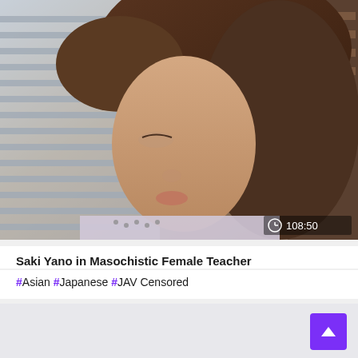[Figure (screenshot): Video thumbnail showing a woman with brown hair sitting indoors near window blinds, wearing a polka-dot blouse. Duration badge showing clock icon and 108:50 in bottom-right corner.]
Saki Yano in Masochistic Female Teacher
#Asian #Japanese #JAV Censored